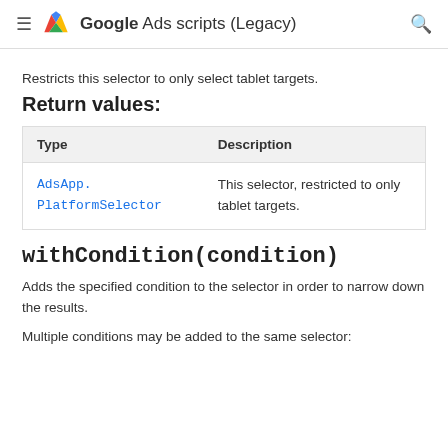Google Ads scripts (Legacy)
Restricts this selector to only select tablet targets.
Return values:
| Type | Description |
| --- | --- |
| AdsApp.PlatformSelector | This selector, restricted to only tablet targets. |
withCondition(condition)
Adds the specified condition to the selector in order to narrow down the results.
Multiple conditions may be added to the same selector: